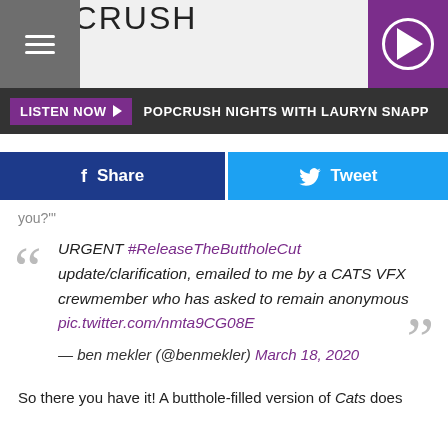POPCRUSH
LISTEN NOW  POPCRUSH NIGHTS WITH LAURYN SNAPP
Share  Tweet
you?'"
URGENT #ReleaseTheButtholeCut update/clarification, emailed to me by a CATS VFX crewmember who has asked to remain anonymous pic.twitter.com/nmta9CG08E

— ben mekler (@benmekler) March 18, 2020
So there you have it! A butthole-filled version of Cats does